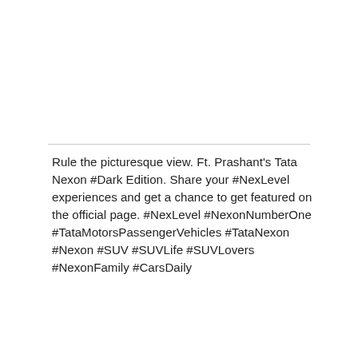Rule the picturesque view. Ft. Prashant's Tata Nexon #Dark Edition. Share your #NexLevel experiences and get a chance to get featured on the official page. #NexLevel #NexonNumberOne #TataMotorsPassengerVehicles #TataNexon #Nexon #SUV #SUVLife #SUVLovers #NexonFamily #CarsDaily
#Dark
#NexLevel
[Figure (screenshot): Cookie Information overlay on a dark background with close button, body text about online services and consent, and an I ACCEPT button]
#SUV
#SUVLife
#SUVLovers